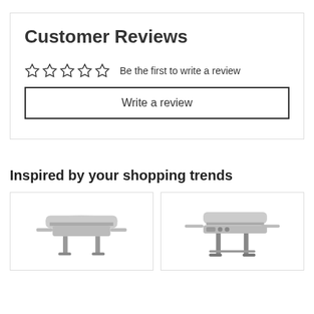Customer Reviews
☆☆☆☆☆  Be the first to write a review
Write a review
Inspired by your shopping trends
[Figure (photo): Product image of a stainless steel grill (left)]
[Figure (photo): Product image of a stainless steel grill (right)]